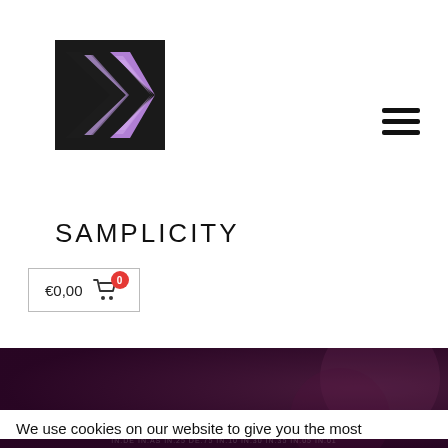[Figure (logo): Samplicity logo: a square with layered chevron/arrow shapes in black and purple tones]
[Figure (other): Hamburger menu icon — three horizontal black lines]
SAMPLICITY
€0,00  0
[Figure (photo): Dark purple/maroon background banner image with blurred circular shapes, appears to be a website hero image]
We use cookies on our website to give you the most